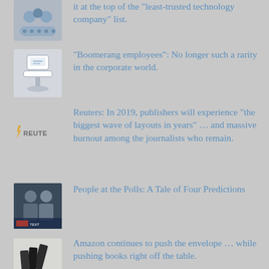it at the top of the “least-trusted technology company” list.
“Boomerang employees”: No longer such a rarity in the corporate world.
Reuters: In 2019, publishers will experience “the biggest wave of layouts in years” ... and massive burnout among the journalists who remain.
People at the Polls: A Tale of Four Predictions
Amazon continues to push the envelope ... while pushing books right off the table.
Click fraud: How much is really out there?
Beyond brand loyalty: Where “daily